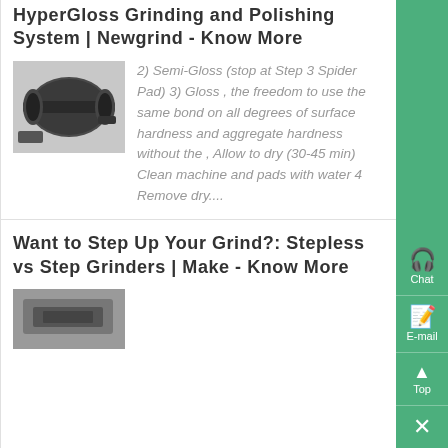HyperGloss Grinding and Polishing System | Newgrind - Know More
[Figure (photo): Photo of a cylindrical grinding/polishing roller or drum component, dark colored, on a white background]
2) Semi-Gloss (stop at Step 3 Spider Pad) 3) Gloss , the freedom to use the same bond on all degrees of surface hardness and aggregate hardness without the , Allow to dry (30-45 min) Clean machine and pads with water 4 Remove dry....
Want to Step Up Your Grind?: Stepless vs Step Grinders | Make - Know More
[Figure (photo): Photo partially visible at bottom, appears to show grinding equipment or machinery]